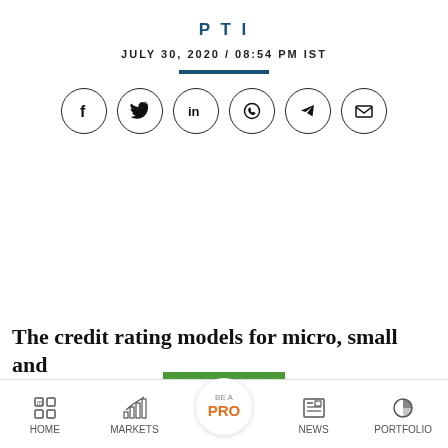PTI
JULY 30, 2020 / 08:54 PM IST
[Figure (other): Social share icons row: Facebook, Twitter, LinkedIn, WhatsApp, Telegram, Email — each in a circle]
[Figure (other): Green rectangular banner/button]
The credit rating models for micro, small and
HOME  MARKETS  BE A PRO  NEWS  PORTFOLIO